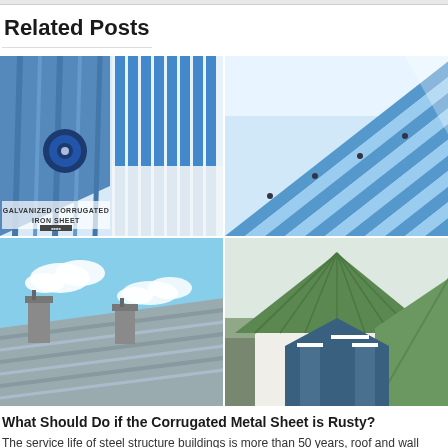Related Posts
[Figure (photo): Collage of four corrugated metal sheet and roofing images: top-left shows a product illustration of galvanized corrugated iron sheet with blue corrugated panels and a screw detail labeled 'Galvanized Corrugated Iron Sheet'; top-right shows close-up of blue corrugated metal roofing panels from a low angle; bottom-left shows a gray metal roof with chimneys against a blue sky with clouds; bottom-right shows a green metal roof on a house with large windows.]
What Should Do if the Corrugated Metal Sheet is Rusty?
The service life of steel structure buildings is more than 50 years, roof and wall panels of prefabricated steel...